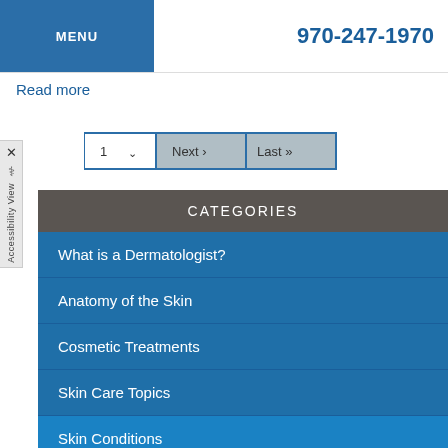MENU | 970-247-1970
Read more
[Figure (screenshot): Pagination widget with page selector '1 v', 'Next >', and 'Last >>' buttons]
CATEGORIES
What is a Dermatologist?
Anatomy of the Skin
Cosmetic Treatments
Skin Care Topics
Skin Conditions